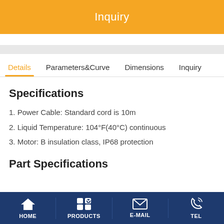Inquiry
Details | Parameters&Curve | Dimensions | Inquiry
Specifications
1. Power Cable: Standard cord is 10m
2. Liquid Temperature: 104°F(40°C) continuous
3. Motor: B insulation class, IP68 protection
Part Specifications
HOME | PRODUCTS | E-MAIL | TEL